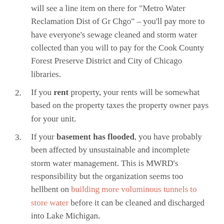will see a line item on there for “Metro Water Reclamation Dist of Gr Chgo” – you’ll pay more to have everyone’s sewage cleaned and storm water collected than you will to pay for the Cook County Forest Preserve District and City of Chicago libraries.
2. If you rent property, your rents will be somewhat based on the property taxes the property owner pays for your unit.
3. If your basement has flooded, you have probably been affected by unsustainable and incomplete storm water management. This is MWRD’s responsibility but the organization seems too hellbent on building more voluminous tunnels to store water before it can be cleaned and discharged into Lake Michigan.
Read on for my endorsements if any of the preceding